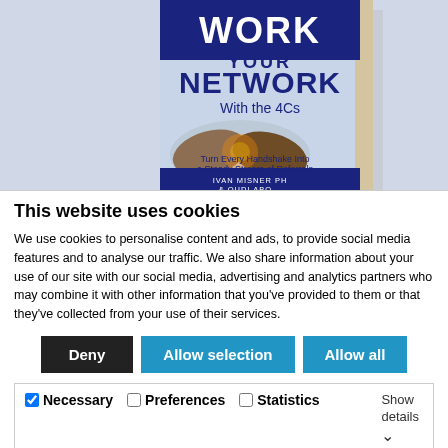[Figure (photo): Book cover showing 'Work Your Network With the 4Cs — Turn Every Handshake Into a Steady Stream of Referrals' by Ivan Misner PhD and Oudi Abouchacra, displayed as a 3D book with a handshake image on the cover.]
This website uses cookies
We use cookies to personalise content and ads, to provide social media features and to analyse our traffic. We also share information about your use of our site with our social media, advertising and analytics partners who may combine it with other information that you've provided to them or that they've collected from your use of their services.
Deny | Allow selection | Allow all
Necessary  Preferences  Statistics  Show details
Marketing